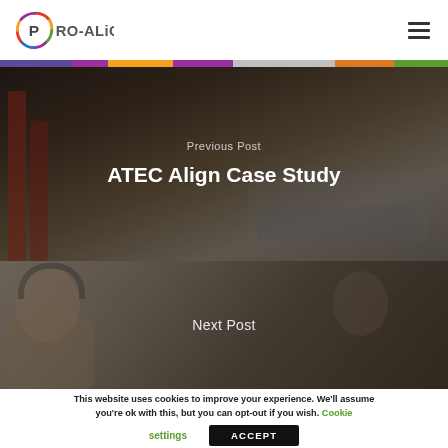PRO-ALIGN
[Figure (photo): Automotive garage/workshop scene with car lift and vehicle, overlaid with 'Previous Post' label and title 'ATEC Align Case Study']
ATEC Align Case Study
[Figure (photo): Smiling woman with headset/customer service representative, overlaid with 'Next Post' label]
This website uses cookies to improve your experience. We'll assume you're ok with this, but you can opt-out if you wish. Cookie settings ACCEPT